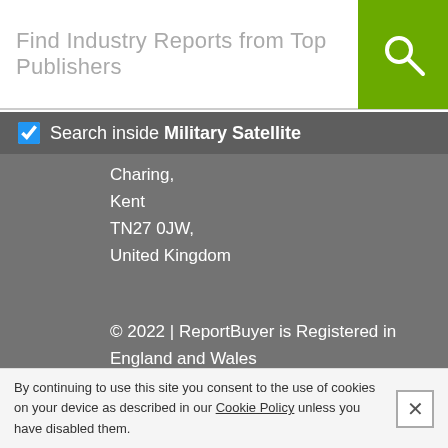[Figure (screenshot): Search bar with placeholder text 'Find Industry Reports from Top Publishers' and a green search button with magnifying glass icon]
Search inside Military Satellite
Charing,
Kent
TN27 0JW,
United Kingdom
© 2022 | ReportBuyer is Registered in England and Wales
No. 05051530
VAT Reg No. GB 839 4556 85
Make sure you don't miss any news and follow us on
[Figure (illustration): Blue circular Facebook icon and blue circular Twitter icon]
By continuing to use this site you consent to the use of cookies on your device as described in our Cookie Policy unless you have disabled them.